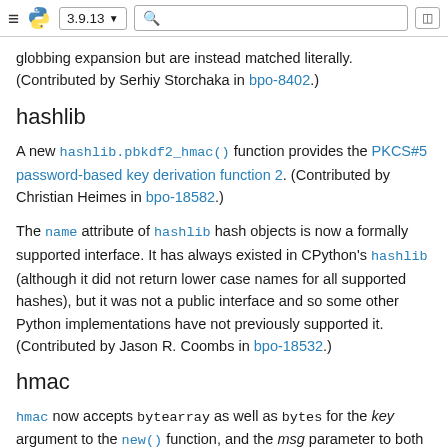≡ [Python logo] 3.9.13 ▼ [search] [sidebar icon]
globbing expansion but are instead matched literally. (Contributed by Serhiy Storchaka in bpo-8402.)
hashlib
A new hashlib.pbkdf2_hmac() function provides the PKCS#5 password-based key derivation function 2. (Contributed by Christian Heimes in bpo-18582.)
The name attribute of hashlib hash objects is now a formally supported interface. It has always existed in CPython's hashlib (although it did not return lower case names for all supported hashes), but it was not a public interface and so some other Python implementations have not previously supported it. (Contributed by Jason R. Coombs in bpo-18532.)
hmac
hmac now accepts bytearray as well as bytes for the key argument to the new() function, and the msg parameter to both the new() function and the update() method now accepts any type supported by the hashlib module. (Contributed by